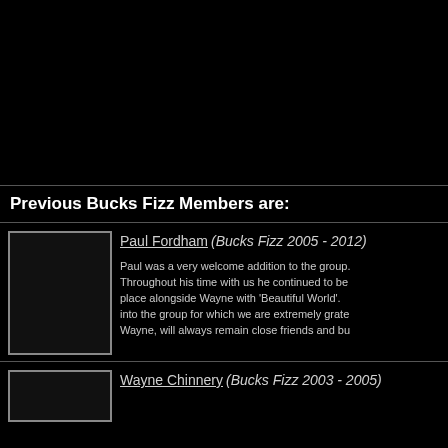Previous Bucks Fizz Members are:
[Figure (photo): Photo placeholder box for Paul Fordham]
Paul Fordham (Bucks Fizz 2005 - 2012)
Paul was a very welcome addition to the group. Throughout his time with us he continued to be place alongside Wayne with 'Beautiful World'. into the group for which we are extremely grate Wayne, will always remain close friends and bu
[Figure (photo): Photo placeholder box for Wayne Chinnery]
Wayne Chinnery (Bucks Fizz 2003 - 2005)